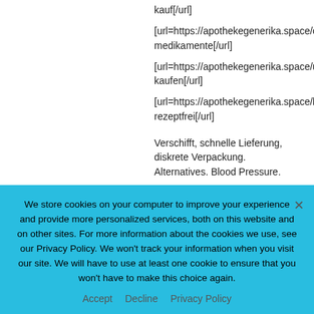kauf[/url]
[url=https://apothekegenerika.space/carbamazepine/]ca medikamente[/url]
[url=https://apothekegenerika.space/urispas/]urispas kaufen[/url]
[url=https://apothekegenerika.space/hydroxyurea/]hydr rezeptfrei[/url]

Verschifft, schnelle Lieferung, diskrete Verpackung. Alternatives. Blood Pressure.

[url=https://forum.lsbclan.net/index.php?topic=527422.new]Enalatab Auftrag[/url]
We store cookies on your computer to improve your experience and provide more personalized services, both on this website and on other sites. For more information about the cookies we use, see our Privacy Policy. We won't track your information when you visit our site. We will have to use at least one cookie to ensure that you won't have to make this choice again.
Accept   Decline   Privacy Policy